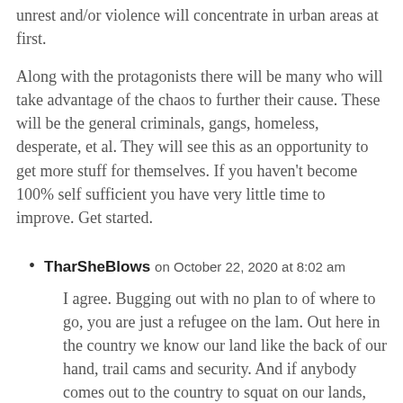unrest and/or violence will concentrate in urban areas at first.
Along with the protagonists there will be many who will take advantage of the chaos to further their cause. These will be the general criminals, gangs, homeless, desperate, et al. They will see this as an opportunity to get more stuff for themselves. If you haven't become 100% self sufficient you have very little time to improve. Get started.
TharSheBlows on October 22, 2020 at 8:02 am
I agree. Bugging out with no plan to of where to go, you are just a refugee on the lam. Out here in the country we know our land like the back of our hand, trail cams and security. And if anybody comes out to the country to squat on our lands, prepare to be dealt with lead poisoning, and you will be disappeared. Neighbors watch each other backs out here.